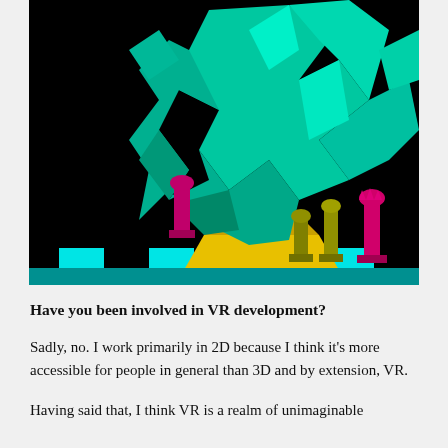[Figure (illustration): A low-polygon / early 3D computer graphics rendering of a chess scene on a black background. A large teal/green fragmented angular figure dominates the upper portion. Chess pieces visible at the bottom include magenta/pink and olive/yellow pieces on a cyan and yellow checkered board.]
Have you been involved in VR development?
Sadly, no. I work primarily in 2D because I think it's more accessible for people in general than 3D and by extension, VR.
Having said that, I think VR is a realm of unimaginable